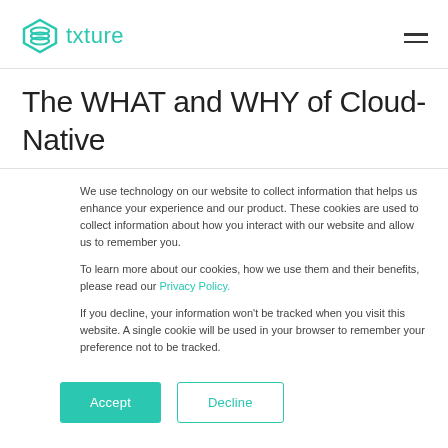txture
The WHAT and WHY of Cloud-Native
We use technology on our website to collect information that helps us enhance your experience and our product. These cookies are used to collect information about how you interact with our website and allow us to remember you.
To learn more about our cookies, how we use them and their benefits, please read our Privacy Policy.
If you decline, your information won't be tracked when you visit this website. A single cookie will be used in your browser to remember your preference not to be tracked.